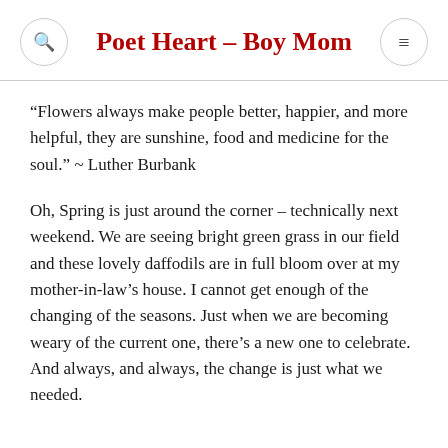Poet Heart – Boy Mom
“Flowers always make people better, happier, and more helpful, they are sunshine, food and medicine for the soul.” ~ Luther Burbank
Oh, Spring is just around the corner – technically next weekend. We are seeing bright green grass in our field and these lovely daffodils are in full bloom over at my mother-in-law’s house. I cannot get enough of the changing of the seasons. Just when we are becoming weary of the current one, there’s a new one to celebrate. And always, and always, the change is just what we needed.